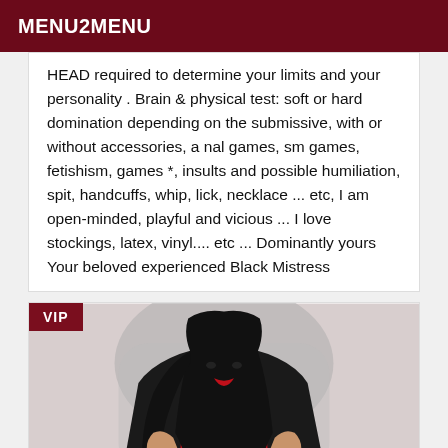MENU2MENU
HEAD required to determine your limits and your personality . Brain & physical test: soft or hard domination depending on the submissive, with or without accessories, a nal games, sm games, fetishism, games *, insults and possible humiliation, spit, handcuffs, whip, lick, necklace ... etc, I am open-minded, playful and vicious ... I love stockings, latex, vinyl.... etc ... Dominantly yours Your beloved experienced Black Mistress
[Figure (photo): Woman with long dark hair wearing red top, seated in ornate chair, VIP badge in top left corner]